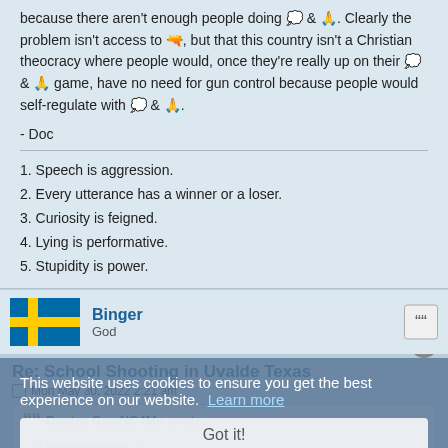because there aren't enough people doing [thought bubble] & [praying hands]. Clearly the problem isn't access to [gun], but that this country isn't a Christian theocracy where people would, once they're really up on their [thought bubble] & [praying hands] game, have no need for gun control because people would self-regulate with [thought bubble] & [praying hands].
- Doc
1. Speech is aggression.
2. Every utterance has a winner or a loser.
3. Curiosity is feigned.
4. Lying is performative.
5. Stupidity is power.
Binger
God
Re: School Shooting in Uvalde Texas
Mon May 30, 2022 2:21 am
Doctor CamNC4Me wrote: ↑
Binger wrote: ↑